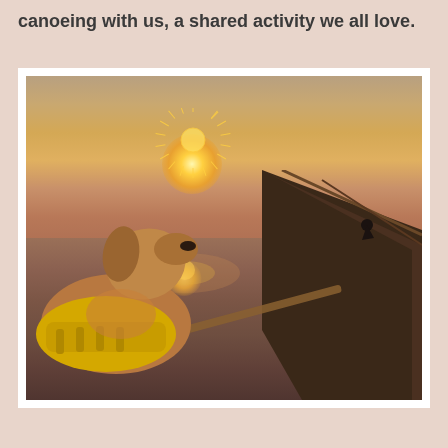canoeing with us, a shared activity we all love.
[Figure (photo): A dog wearing a yellow life jacket sits in the bow of a canoe on a calm lake at sunset. The sun is low on the horizon creating a golden reflection on the still water. Rolling hills and trees are visible in the background under a hazy orange sky.]